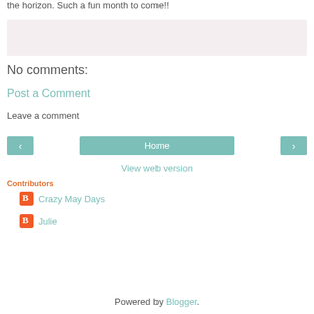the horizon. Such a fun month to come!!
[Figure (other): Light pink/lavender rectangular box (comment form area)]
No comments:
Post a Comment
Leave a comment
[Figure (other): Navigation row with left arrow button, Home button, and right arrow button in teal/mint color]
View web version
Contributors
Crazy May Days
Julie
Powered by Blogger.